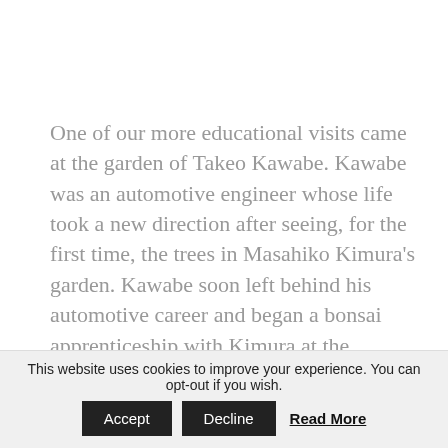One of our more educational visits came at the garden of Takeo Kawabe. Kawabe was an automotive engineer whose life took a new direction after seeing, for the first time, the trees in Masahiko Kimura's garden. Kawabe soon left behind his automotive career and began a bonsai apprenticeship with Kimura at the
This website uses cookies to improve your experience. You can opt-out if you wish.